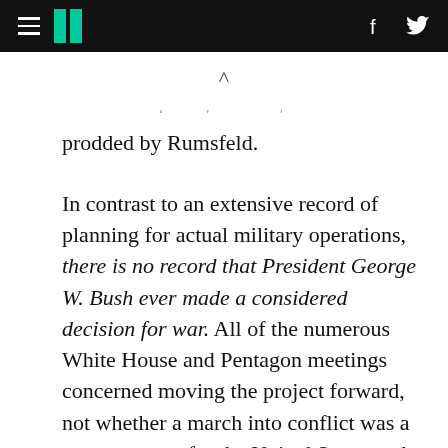HuffPost navigation header with hamburger menu, logo, Facebook and Twitter icons
prodded by Rumsfeld.
In contrast to an extensive record of planning for actual military operations, there is no record that President George W. Bush ever made a considered decision for war. All of the numerous White House and Pentagon meetings concerned moving the project forward, not whether a march into conflict was a proper course for the United States and its allies. Deliberations were instrumental to furthering the war project, not considerations of the basic course. Moreover, the